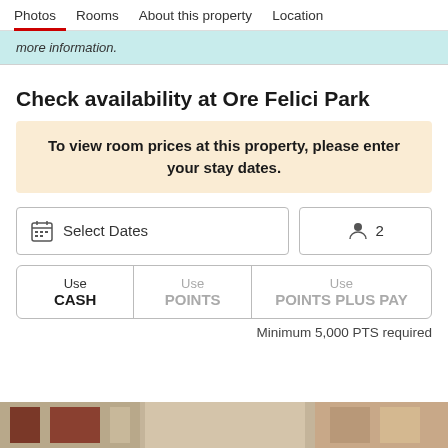Photos  Rooms  About this property  Location
more information.
Check availability at Ore Felici Park
To view room prices at this property, please enter your stay dates.
Select Dates
2
Use CASH  Use POINTS  Use POINTS PLUS PAY
Minimum 5,000 PTS required
[Figure (photo): Bottom strip showing hotel room photo thumbnails]